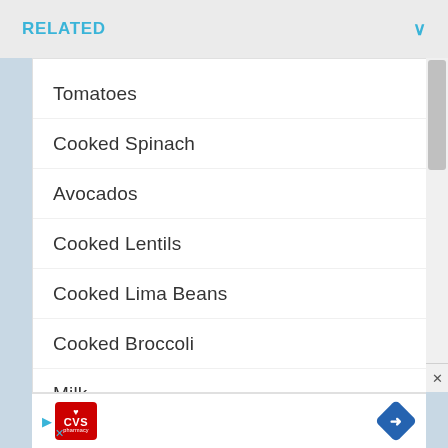RELATED
Tomatoes
Cooked Spinach
Avocados
Cooked Lentils
Cooked Lima Beans
Cooked Broccoli
Milk
[Figure (screenshot): Advertisement banner with CVS Pharmacy logo and navigation arrow icon]